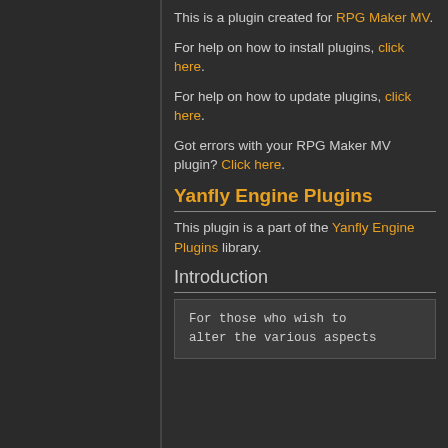This is a plugin created for RPG Maker MV.
For help on how to install plugins, click here.
For help on how to update plugins, click here.
Got errors with your RPG Maker MV plugin? Click here.
Yanfly Engine Plugins
This plugin is a part of the Yanfly Engine Plugins library.
Introduction
For those who wish to alter the various aspects